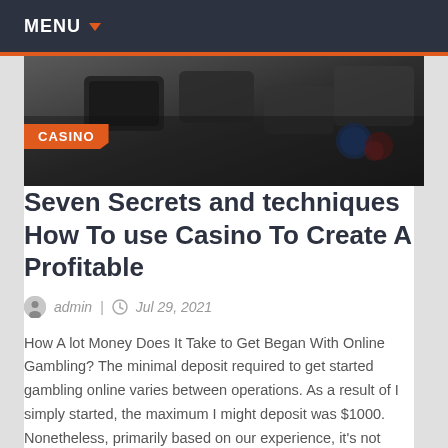MENU
[Figure (photo): Dark background image showing casino/gambling devices on a table, with an orange CASINO badge overlay in bottom-left]
Seven Secrets and techniques How To use Casino To Create A Profitable
admin | Jul 29, 2021
How A lot Money Does It Take to Get Began With Online Gambling? The minimal deposit required to get started gambling online varies between operations. As a result of I simply started, the maximum I might deposit was $1000. Nonetheless, primarily based on our experience, it's not unusual to find online gambling sites willing to…
Read More